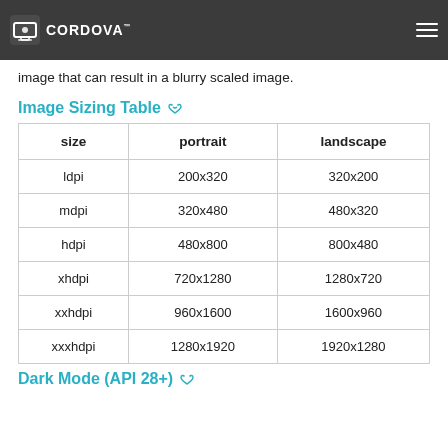If not all DPI images are considered, some devices might not show a SplashScreen or will use an incorrect DPI
image that can result in a blurry scaled image.
Image Sizing Table
| size | portrait | landscape |
| --- | --- | --- |
| ldpi | 200x320 | 320x200 |
| mdpi | 320x480 | 480x320 |
| hdpi | 480x800 | 800x480 |
| xhdpi | 720x1280 | 1280x720 |
| xxhdpi | 960x1600 | 1600x960 |
| xxxhdpi | 1280x1920 | 1920x1280 |
Dark Mode (API 28+)